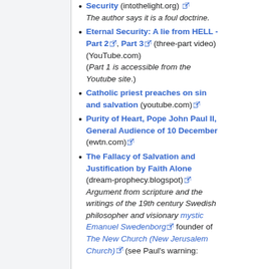Security (intothelight.org) — The author says it is a foul doctrine.
Eternal Security: A lie from HELL - Part 2, Part 3 (three-part video) (YouTube.com) (Part 1 is accessible from the Youtube site.)
Catholic priest preaches on sin and salvation (youtube.com)
Purity of Heart, Pope John Paul II, General Audience of 10 December (ewtn.com)
The Fallacy of Salvation and Justification by Faith Alone (dream-prophecy.blogspot) Argument from scripture and the writings of the 19th century Swedish philosopher and visionary mystic Emanuel Swedenborg founder of The New Church (New Jerusalem Church) (see Paul's warning: